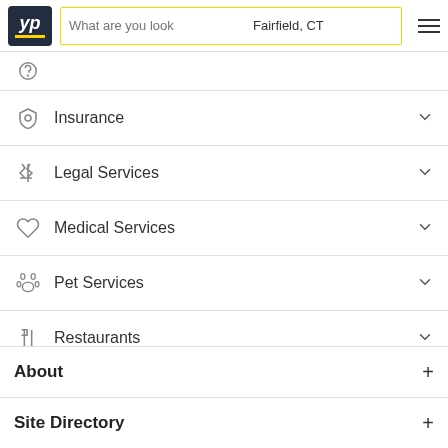[Figure (screenshot): YellowPages (YP) website header with logo, search bar showing 'What are you look' placeholder and 'Fairfield, CT' location, yellow search button, and hamburger menu icon]
Insurance
Legal Services
Medical Services
Pet Services
Restaurants
About
Site Directory